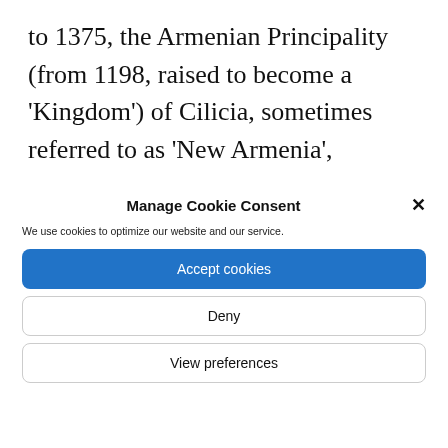to 1375, the Armenian Principality (from 1198, raised to become a 'Kingdom') of Cilicia, sometimes referred to as 'New Armenia', flourished in the region.  However, the kingdom fell in 1375, causing most its leadership to go into the diaspora, while the remaining Armenians continued to live under
Manage Cookie Consent
We use cookies to optimize our website and our service.
Accept cookies
Deny
View preferences